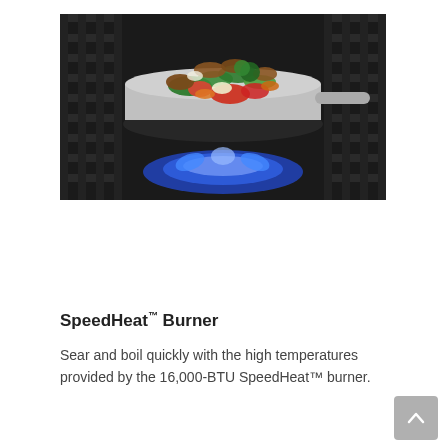[Figure (photo): A stainless steel pan filled with stir-fry vegetables and meat sitting on a gas stove burner with blue flames visible beneath it, on a black grate.]
SpeedHeat™ Burner
Sear and boil quickly with the high temperatures provided by the 16,000-BTU SpeedHeat™ burner.